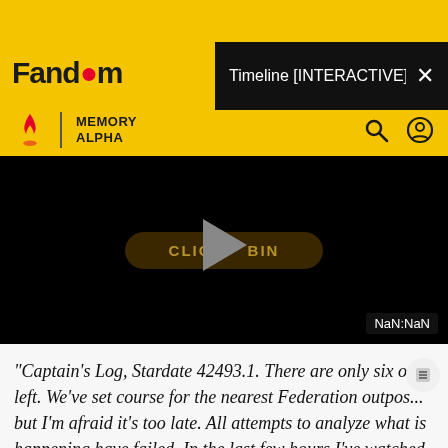Fandom
Timeline [INTERACTIVE]
MEMORY ALPHA
[Figure (screenshot): Video player with black background, showing a dark brown pill-shaped button with text 'CLICK TO BEGIN' partially obscured by a large grey play triangle. Bottom right shows 'NaN:NaN' timestamp label.]
"Captain's Log, Stardate 42493.1. There are only six of us left. We've set course for the nearest Federation outpost, but I'm afraid it's too late. All attempts to analyze what is happening have failed. In the last few hours I've watched